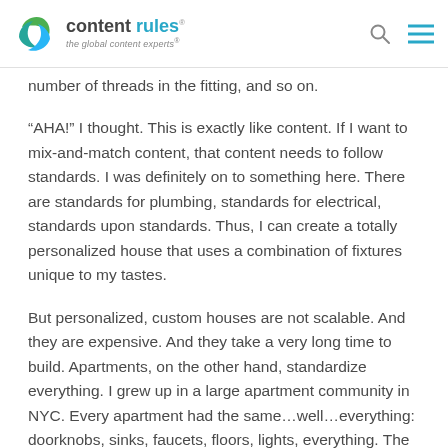content rules · the global content experts®
number of threads in the fitting, and so on.
“AHA!” I thought. This is exactly like content. If I want to mix-and-match content, that content needs to follow standards. I was definitely on to something here. There are standards for plumbing, standards for electrical, standards upon standards. Thus, I can create a totally personalized house that uses a combination of fixtures unique to my tastes.
But personalized, custom houses are not scalable. And they are expensive. And they take a very long time to build. Apartments, on the other hand, standardize everything. I grew up in a large apartment community in NYC. Every apartment had the same…well…everything: doorknobs, sinks, faucets, floors, lights, everything. The only way to